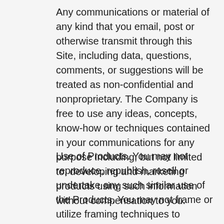Any communications or material of any kind that you email, post or otherwise transmit through this Site, including data, questions, comments, or suggestions will be treated as non-confidential and nonproprietary.  The Company is free to use any ideas, concepts, know-how or techniques contained in your communications for any purpose including, but not limited to, developing and marketing products using such information without compensation to you.
Use of Products.  You may not reproduce, republish, resell or undertake any such similar use of the Products.  You may not frame or utilize framing techniques to enclose any trademark, logo, or other proprietary information (including images, text, page